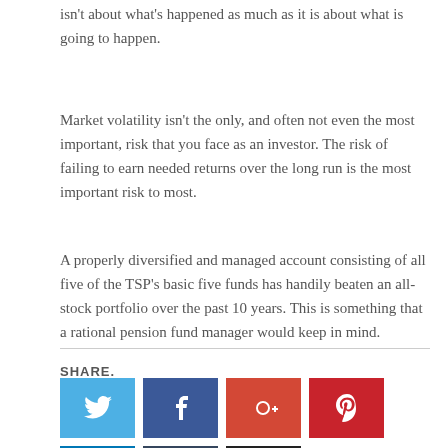isn't about what's happened as much as it is about what is going to happen.
Market volatility isn't the only, and often not even the most important, risk that you face as an investor. The risk of failing to earn needed returns over the long run is the most important risk to most.
A properly diversified and managed account consisting of all five of the TSP's basic five funds has handily beaten an all-stock portfolio over the past 10 years. This is something that a rational pension fund manager would keep in mind.
SHARE.
[Figure (infographic): Social media share buttons: Twitter (blue), Facebook (dark blue), Google+ (red-orange), Pinterest (red), LinkedIn (blue), Tumblr (dark blue-grey), Email (dark grey/black)]